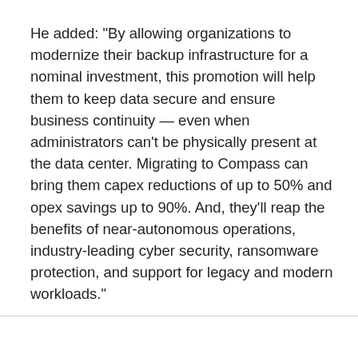He added: "By allowing organizations to modernize their backup infrastructure for a nominal investment, this promotion will help them to keep data secure and ensure business continuity — even when administrators can't be physically present at the data center. Migrating to Compass can bring them capex reductions of up to 50% and opex savings up to 90%. And, they'll reap the benefits of near-autonomous operations, industry-leading cyber security, ransomware protection, and support for legacy and modern workloads."